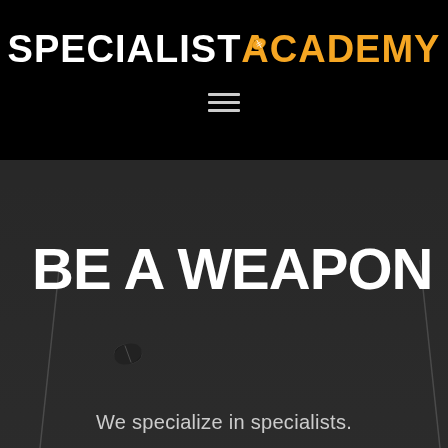[Figure (logo): Specialist Academy logo with white 'SPECIALIST' and orange 'ACADEMY' text on black background, with a football icon embedded in the 'A' of ACADEMY]
[Figure (other): Hamburger menu icon (three horizontal lines) on black background]
BE A WEAPON
We specialize in specialists.